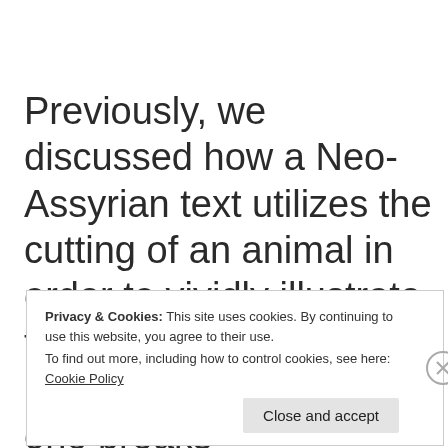Previously, we discussed how a Neo-Assyrian text utilizes the cutting of an animal in order to vividly illustrate the consequences of breaking the treaty. If one breaks
Privacy & Cookies: This site uses cookies. By continuing to use this website, you agree to their use.
To find out more, including how to control cookies, see here: Cookie Policy